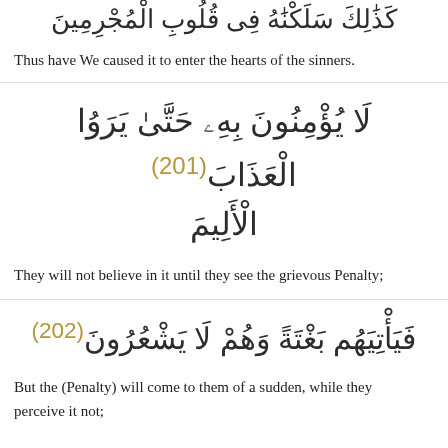كَذَٰلِكَ سَلَكْنَٰهُ فِى قُلُوبِ الْمُجْرِمِينَ (Arabic, top, partial)
Thus have We caused it to enter the hearts of the sinners.
لَا يُؤْمِنُونَ بِهِۦ حَتَّىٰ يَرَوُا الْعَذَابَ الْأَلِيمَ (201)
They will not believe in it until they see the grievous Penalty;
فَيَأْتِيَهُم بَغْتَةً وَهُمْ لَا يَشْعُرُونَ (202)
But the (Penalty) will come to them of a sudden, while they perceive it not;